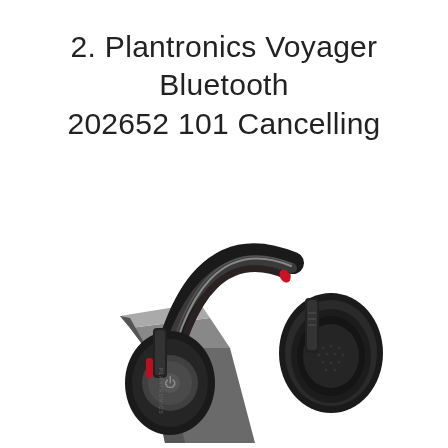2. Plantronics Voyager Bluetooth 202652 101 Cancelling
[Figure (photo): Plantronics Voyager Bluetooth headset (model 202652-101) with noise cancelling, shown with ear cups and headband in black with red accents, resting on a charging stand. The headset is a premium over-ear wireless Bluetooth headset.]